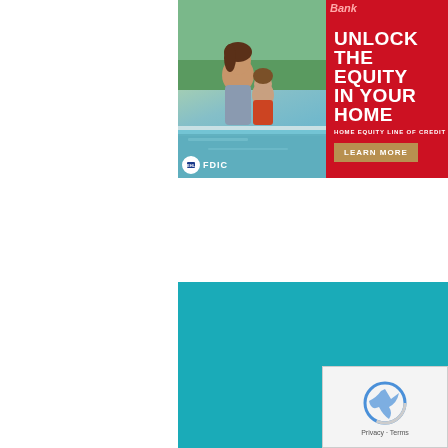[Figure (advertisement): Bank advertisement - 'Unlock the Equity in Your Home' Home Equity Line of Credit. Left side shows photo of woman and child at a pool. Right side is red with white bold text: UNLOCK THE EQUITY IN YOUR HOME, subtext HOME EQUITY LINE OF CREDIT, gold button LEARN MORE. FDIC equal housing lender badge at bottom left.]
[Figure (advertisement): Bank advertisement - 'Bank Better with us. SEE HOW!' Teal background. Left side shows photo of smiling male bank employee in suit with red tie. White outline lightning bolt/arrow shape behind him. Right side has large white text: Bank Better with us. White outlined button: SEE HOW!]
[Figure (other): Google reCAPTCHA widget in bottom right corner showing reCAPTCHA logo and 'Privacy - Terms' text.]